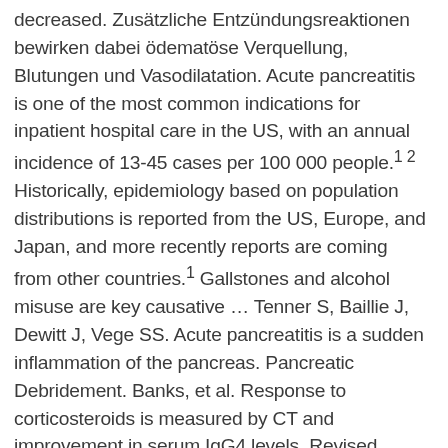decreased. Zusätzliche Entzündungsreaktionen bewirken dabei ödematöse Verquellung, Blutungen und Vasodilatation. Acute pancreatitis is one of the most common indications for inpatient hospital care in the US, with an annual incidence of 13-45 cases per 100 000 people.1 2 Historically, epidemiology based on population distributions is reported from the US, Europe, and Japan, and more recently reports are coming from other countries.1 Gallstones and alcohol misuse are key causative … Tenner S, Baillie J, Dewitt J, Vege SS. Acute pancreatitis is a sudden inflammation of the pancreas. Pancreatic Debridement. Banks, et al. Response to corticosteroids is measured by CT and improvement in serum IgG4 levels. Revised Atlanta Classification for Acute Pancreatitis: A Pictorial Essay. In: Post TW, ed. Lankisch et al. Gallstone disease is a common condition, affecting around 10-14% in Western populations.Most